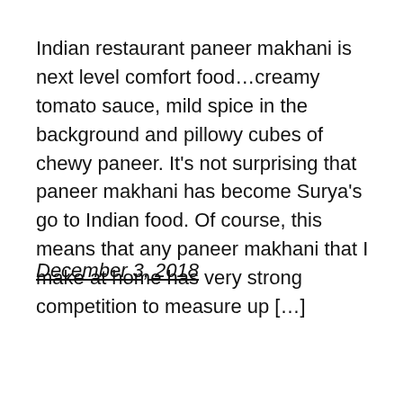Indian restaurant paneer makhani is next level comfort food…creamy tomato sauce, mild spice in the background and pillowy cubes of chewy paneer. It's not surprising that paneer makhani has become Surya's go to Indian food. Of course, this means that any paneer makhani that I make at home has very strong competition to measure up […]
December 3, 2018